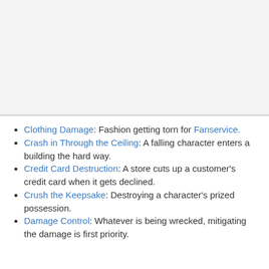[Figure (other): Gray blank area at the top of the page, approximately half the page height, separated by a horizontal rule.]
Clothing Damage: Fashion getting torn for Fanservice.
Crash in Through the Ceiling: A falling character enters a building the hard way.
Credit Card Destruction: A store cuts up a customer's credit card when it gets declined.
Crush the Keepsake: Destroying a character's prized possession.
Damage Control: Whatever is being wrecked, mitigating the damage is first priority.